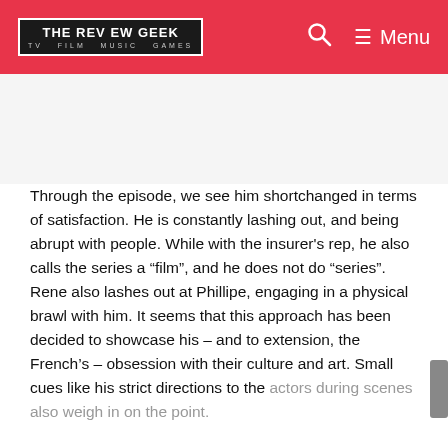THE REVIEW GEEK — TV FILM MUSIC GAMES | Menu
Through the episode, we see him shortchanged in terms of satisfaction. He is constantly lashing out, and being abrupt with people. While with the insurer's rep, he also calls the series a “film”, and he does not do “series”. Rene also lashes out at Phillipe, engaging in a physical brawl with him. It seems that this approach has been decided to showcase his – and to extension, the French’s – obsession with their culture and art. Small cues like his strict directions to the actors during scenes also weigh in on the point.
In more vivid detail, we see the production crumbling…